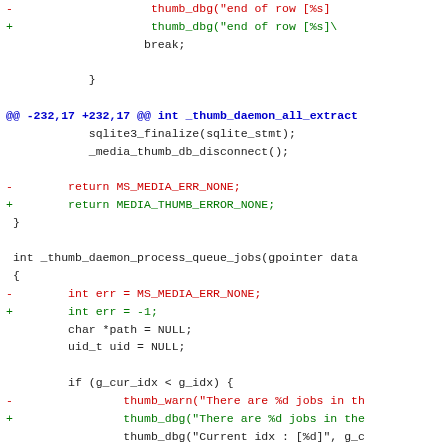[Figure (screenshot): Code diff view showing changes to C source code for thumb daemon functions, with removed lines in red (prefixed with -) and added lines in green (prefixed with +), and context lines in black/dark. Contains two diff hunks: one at line 232 modifying return value, and one at line 261 modifying error initialization and log function calls.]